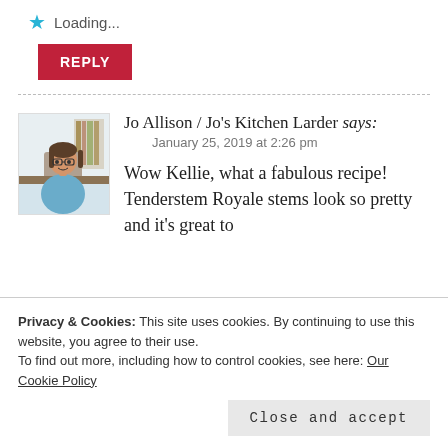Loading...
REPLY
Jo Allison / Jo's Kitchen Larder says:
January 25, 2019 at 2:26 pm
[Figure (photo): Profile photo of Jo Allison, a woman sitting at a desk wearing a blue top, with bookshelves in the background.]
Wow Kellie, what a fabulous recipe! Tenderstem Royale stems look so pretty and it's great to
Privacy & Cookies: This site uses cookies. By continuing to use this website, you agree to their use.
To find out more, including how to control cookies, see here: Our Cookie Policy
Close and accept